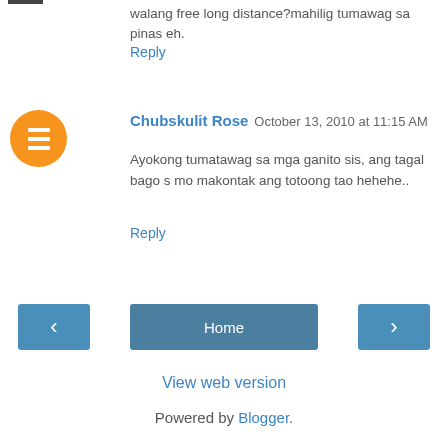walang free long distance?mahilig tumawag sa pinas eh.
Reply
Chubskulit Rose  October 13, 2010 at 11:15 AM
Ayokong tumatawag sa mga ganito sis, ang tagal bago s mo makontak ang totoong tao hehehe..
Reply
‹
Home
›
View web version
Powered by Blogger.